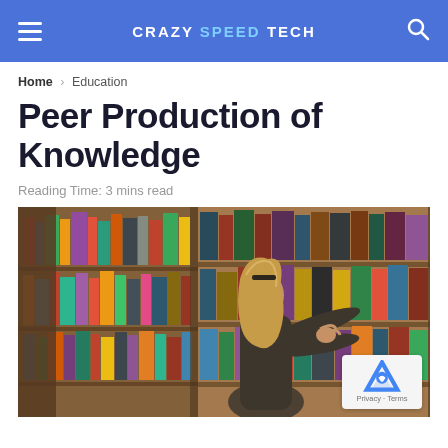CRAZY SPEED TECH
Home > Education
Peer Production of Knowledge
Reading Time: 3 mins read
[Figure (photo): A woman with long blonde hair browsing books on library shelves, reaching for a book with both hands. The shelves are packed with colorful books in warm tones.]